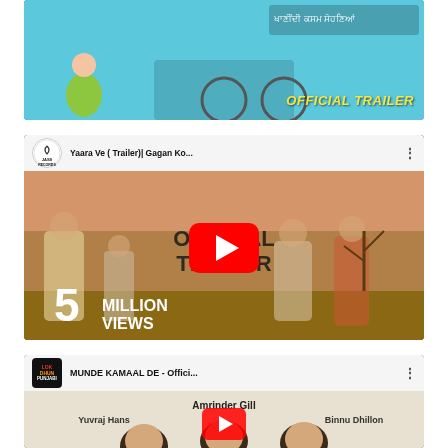[Figure (screenshot): YouTube video thumbnail for a Punjabi movie official trailer showing characters on a bicycle with text 'OFFICIAL TRAILER' in yellow italic text on a teal background.]
[Figure (screenshot): YouTube video thumbnail for 'Yaara Ve (Trailer) | Gagan Ko...' from Jass Records channel, showing the official trailer with 5 MILLION VIEWS text, featuring actors in a rural setting.]
[Figure (screenshot): YouTube video thumbnail for 'MUNDE KAMAAL DE - Offici...' from Lokdhun Punjabi channel, featuring Amrinder Gill, Yuvraj Hans, and Binnu Dhillon.]